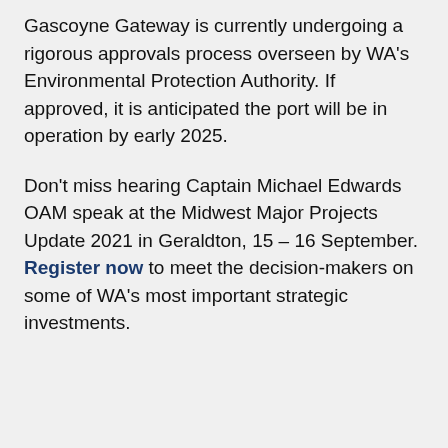Gascoyne Gateway is currently undergoing a rigorous approvals process overseen by WA's Environmental Protection Authority. If approved, it is anticipated the port will be in operation by early 2025.
Don't miss hearing Captain Michael Edwards OAM speak at the Midwest Major Projects Update 2021 in Geraldton, 15 – 16 September. Register now to meet the decision-makers on some of WA's most important strategic investments.